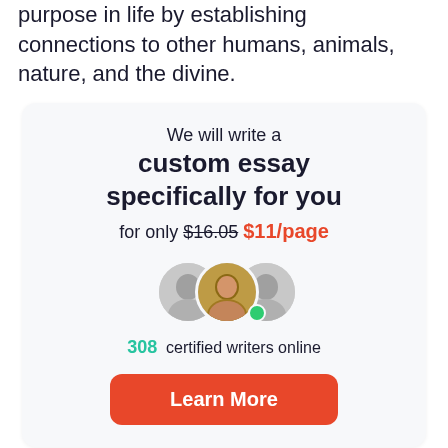purpose in life by establishing connections to other humans, animals, nature, and the divine.
[Figure (infographic): Advertisement box with essay writing service offer: 'We will write a custom essay specifically for you for only $16.05 $11/page', showing 3 overlapping writer avatars with green online dot, '308 certified writers online', and a 'Learn More' orange button.]